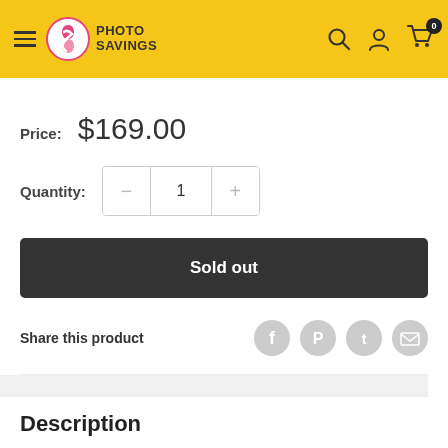Photo Savings — navigation header with logo, search, account, and cart icons
Price: $169.00
Quantity: 1
Sold out
Share this product
Description
Inspired by the dulcimer, the Seagull Merlin is a portable 4-